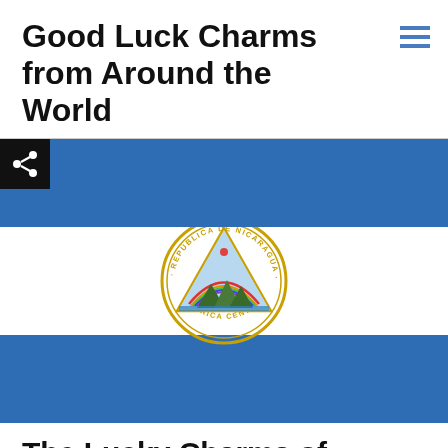Good Luck Charms from Around the World
[Figure (illustration): Nicaragua national flag with two blue horizontal stripes on top and bottom, white stripe in the middle containing the national coat of arms (triangle with volcano, rainbow, text 'REPUBLICA DE NICARAGUA AMERICA CENTRAL'). A share button (black square with share icon) is overlaid on the top-left of the flag.]
The Lucky Charms of